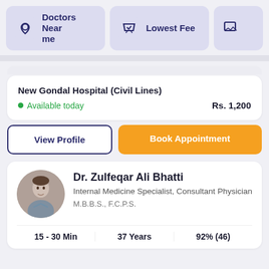Doctors Near me
Lowest Fee
New Gondal Hospital (Civil Lines)
Available today   Rs. 1,200
View Profile
Book Appointment
Dr. Zulfeqar Ali Bhatti
Internal Medicine Specialist, Consultant Physician
M.B.B.S., F.C.P.S.
15 - 30 Min   37 Years   92% (46)